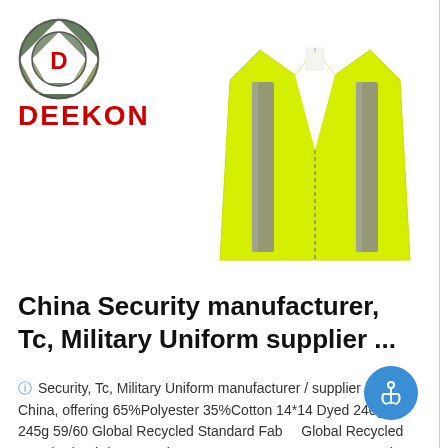[Figure (logo): Deekon company logo: circular camouflage-patterned badge with red D letter in center, above bold red text DEEKON]
[Figure (photo): Yellow/lime high-visibility safety vest with two vertical grey reflective stripes, shown on white background]
China Security manufacturer, Tc, Military Uniform supplier ...
Security, Tc, Military Uniform manufacturer / supplier in China, offering 65%Polyester 35%Cotton 14*14 Dyed 240g-245g 59/60 Global Recycled Standard Fabric Global Recycled Standard Fabric 65%Polyester 35%Cotton 16*12 280g Dyed 59/60, 65%Polyester